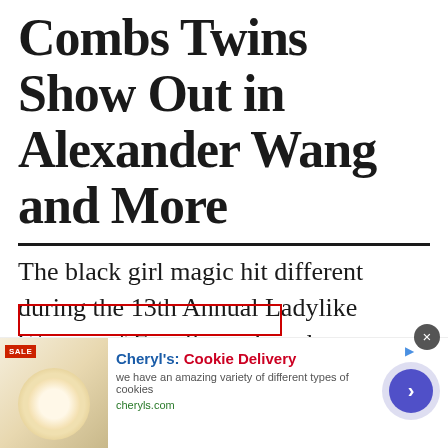Combs Twins Show Out in Alexander Wang and More
The black girl magic hit different during the 13th Annual Ladylike Women of Excellence Luncheon over the weekend held at The Beverly Hilton in Beverly Hills, Los Angeles, California. Founded
[Figure (other): Advertisement banner for Cheryl's Cookie Delivery showing cookies image, bold title, description text, website URL, and a circular arrow button]